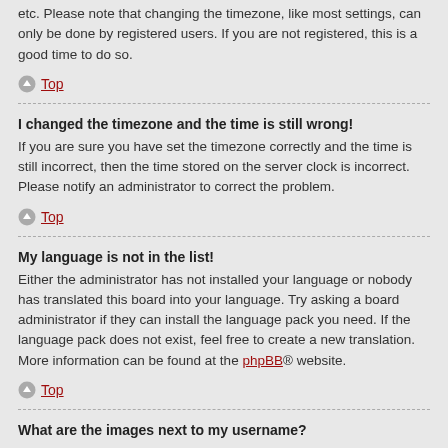etc. Please note that changing the timezone, like most settings, can only be done by registered users. If you are not registered, this is a good time to do so.
↑ Top
I changed the timezone and the time is still wrong!
If you are sure you have set the timezone correctly and the time is still incorrect, then the time stored on the server clock is incorrect. Please notify an administrator to correct the problem.
↑ Top
My language is not in the list!
Either the administrator has not installed your language or nobody has translated this board into your language. Try asking a board administrator if they can install the language pack you need. If the language pack does not exist, feel free to create a new translation. More information can be found at the phpBB® website.
↑ Top
What are the images next to my username?
There are two images which may appear along with a username when viewing posts. One of them may be an image associated with your rank, generally in